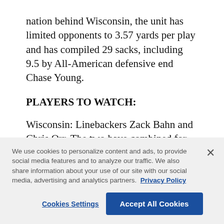nation behind Wisconsin, the unit has limited opponents to 3.57 yards per play and has compiled 29 sacks, including 9.5 by All-American defensive end Chase Young.
PLAYERS TO WATCH:
Wisconsin: Linebackers Zack Bahn and Chris Orr. The two have combined for 14.5 of the team's 27 sacks, which is eighth in the nation.
Ohio State: QB Justin Fields. The Georgia transfer is
We use cookies to personalize content and ads, to provide social media features and to analyze our traffic. We also share information about your use of our site with our social media, advertising and analytics partners.  Privacy Policy
Cookies Settings
Accept All Cookies